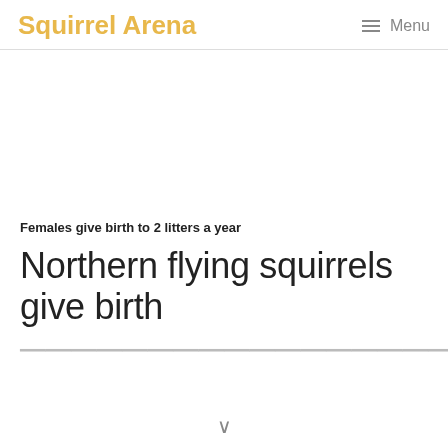Squirrel Arena  ☰ Menu
Females give birth to 2 litters a year
Northern flying squirrels give birth